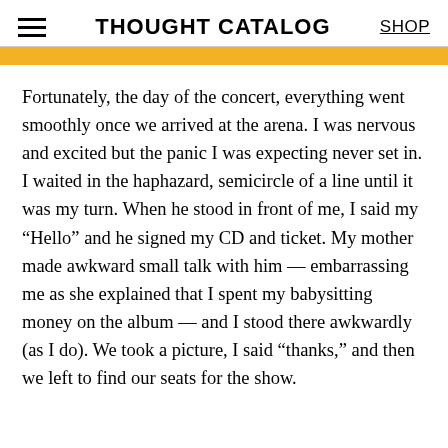THOUGHT CATALOG  SHOP
Fortunately, the day of the concert, everything went smoothly once we arrived at the arena. I was nervous and excited but the panic I was expecting never set in. I waited in the haphazard, semicircle of a line until it was my turn. When he stood in front of me, I said my “Hello” and he signed my CD and ticket. My mother made awkward small talk with him — embarrassing me as she explained that I spent my babysitting money on the album — and I stood there awkwardly (as I do). We took a picture, I said “thanks,” and then we left to find our seats for the show.